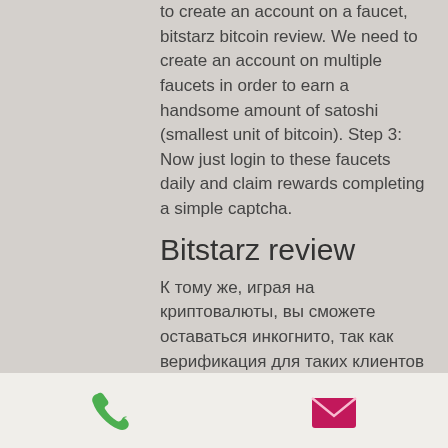to create an account on a faucet, bitstarz bitcoin review. We need to create an account on multiple faucets in order to earn a handsome amount of satoshi (smallest unit of bitcoin). Step 3: Now just login to these faucets daily and claim rewards completing a simple captcha.
Bitstarz review
К тому же, играя на криптовалюты, вы сможете оставаться инкогнито, так как верификация для таких клиентов не требуется если сумма выигрыша не превышает 7 btc. Everything on the bitstarz platform is well laid out and easy to find. The games are able to be sorted multiple ways, and they even have a search function. Visit site bitstarz ranks high among veteran crypto gambling websites. The casino started in 2014, supporting only cryptocurrency wallets
[Figure (other): Bottom navigation bar with phone icon (green) and email/envelope icon (pink/magenta)]